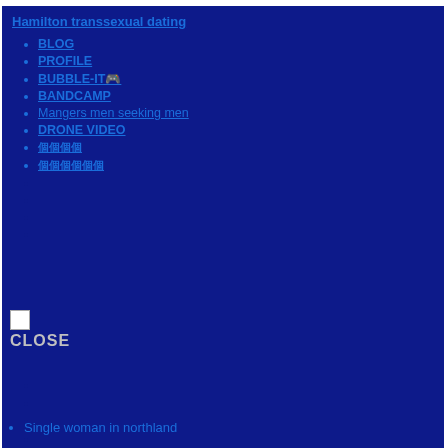Hamilton transsexual dating
BLOG
PROFILE
BUBBLE-IT🎮
BANDCAMP
Mangers men seeking men
DRONE VIDEO
個個個個
個個個個個個
CLOSE
Single woman in northland